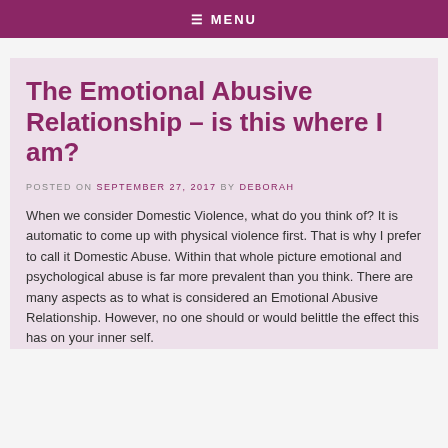≡ MENU
The Emotional Abusive Relationship – is this where I am?
POSTED ON SEPTEMBER 27, 2017 BY DEBORAH
When we consider Domestic Violence, what do you think of? It is automatic to come up with physical violence first. That is why I prefer to call it Domestic Abuse. Within that whole picture emotional and psychological abuse is far more prevalent than you think. There are many aspects as to what is considered an Emotional Abusive Relationship. However, no one should or would belittle the effect this has on your inner self.